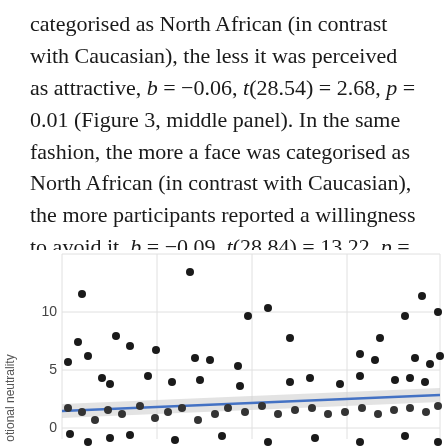categorised as North African (in contrast with Caucasian), the less it was perceived as attractive, b = −0.06, t(28.54) = 2.68, p = 0.01 (Figure 3, middle panel). In the same fashion, the more a face was categorised as North African (in contrast with Caucasian), the more participants reported a willingness to avoid it, b = −0.09, t(28.84) = 13.22, p = 0.001 (Figure 3, bottom panel).
[Figure (continuous-plot): Scatter plot with regression line showing emotional neutrality on y-axis (values from approximately -5 to 10+) versus an x-axis variable. A blue regression line slopes slightly upward with a gray confidence band. Many black dots scattered across the plot.]